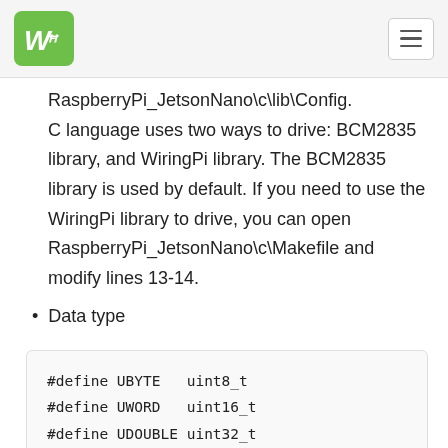Waveshare logo and navigation menu
RaspberryPi_JetsonNano\c\lib\Config. C language uses two ways to drive: BCM2835 library, and WiringPi library. The BCM2835 library is used by default. If you need to use the WiringPi library to drive, you can open RaspberryPi_JetsonNano\c\Makefile and modify lines 13-14.
Data type
#define UBYTE   uint8_t
#define UWORD   uint16_t
#define UDOUBLE uint32_t